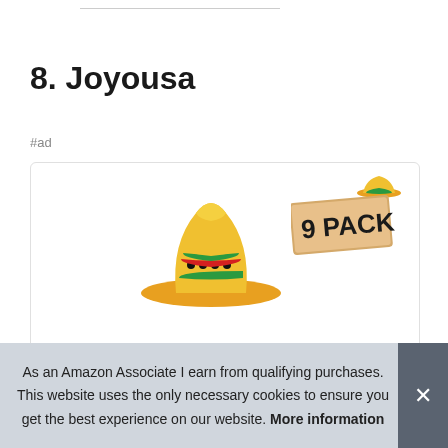8. Joyousa
#ad
[Figure (photo): Product image of Joyousa 9 Pack sombrero hats with colorful Mexican-style decoration pattern at bottom]
As an Amazon Associate I earn from qualifying purchases. This website uses the only necessary cookies to ensure you get the best experience on our website. More information